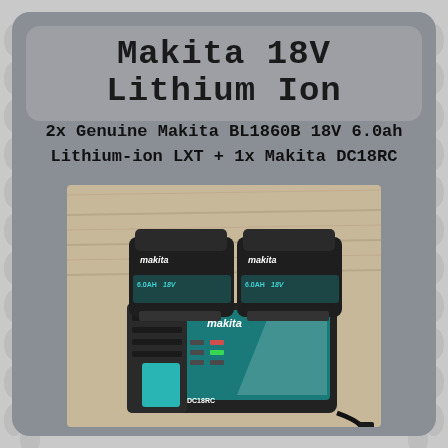Makita 18V Lithium Ion
2x Genuine Makita BL1860B 18V 6.0ah Lithium-ion LXT + 1x Makita DC18RC
[Figure (photo): Photo of two Makita BL1860B 18V 6.0ah lithium-ion batteries resting on a Makita DC18RC dual-port charger, placed on a wooden floor. The batteries are black with teal/blue-green accents and the charger is teal/black with indicator lights.]